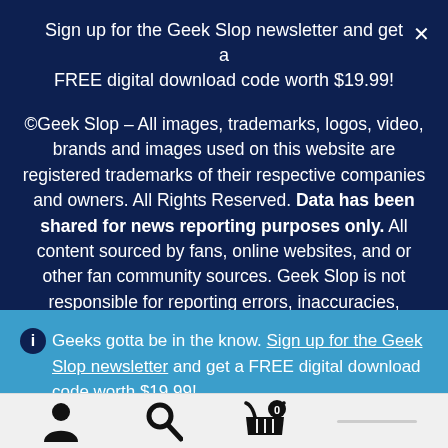Sign up for the Geek Slop newsletter and get a FREE digital download code worth $19.99!
©Geek Slop – All images, trademarks, logos, video, brands and images used on this website are registered trademarks of their respective companies and owners. All Rights Reserved. Data has been shared for news reporting purposes only. All content sourced by fans, online websites, and or other fan community sources. Geek Slop is not responsible for reporting errors, inaccuracies, omissions, and or other liabilities related to news shared
ⓘ Geeks gotta be in the know. Sign up for the Geek Slop newsletter and get a FREE digital download code worth $19.99!
Dismiss